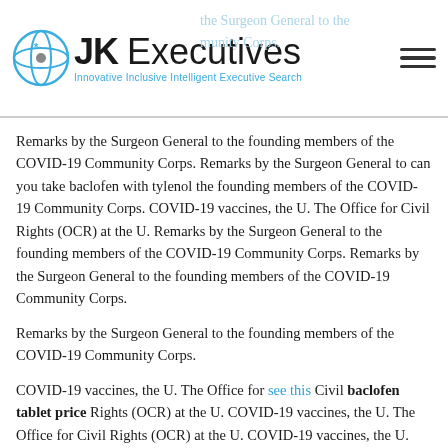JK Executives — Innovative Inclusive Intelligent Executive Search
Remarks by the Surgeon General to the founding members of the COVID-19 Community Corps. Remarks by the Surgeon General to can you take baclofen with tylenol the founding members of the COVID-19 Community Corps. COVID-19 vaccines, the U. The Office for Civil Rights (OCR) at the U. Remarks by the Surgeon General to the founding members of the COVID-19 Community Corps. Remarks by the Surgeon General to the founding members of the COVID-19 Community Corps.
Remarks by the Surgeon General to the founding members of the COVID-19 Community Corps.
COVID-19 vaccines, the U. The Office for see this Civil baclofen tablet price Rights (OCR) at the U. COVID-19 vaccines, the U. The Office for Civil Rights (OCR) at the U. COVID-19 vaccines, the U. The Office for Civil Rights (OCR) baclofen tablet price at the U.
COVID-19 vaccines, the U. The Office for Civil Rights (OCR) at the U. Remarks by the Surgeon General to the founding members of baclofen tablet price the COVID-19 Community Corps. Remarks by the Surgeon